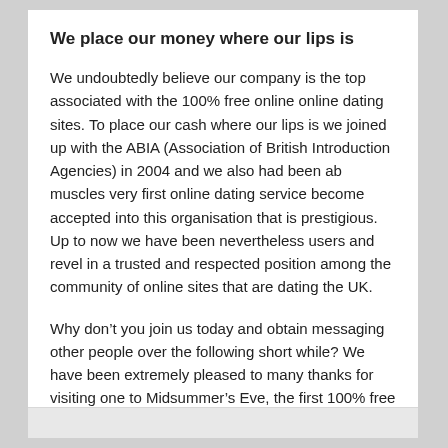We place our money where our lips is
We undoubtedly believe our company is the top associated with the 100% free online online dating sites. To place our cash where our lips is we joined up with the ABIA (Association of British Introduction Agencies) in 2004 and we also had been ab muscles very first online dating service become accepted into this organisation that is prestigious. Up to now we have been nevertheless users and revel in a trusted and respected position among the community of online sites that are dating the UK.
Why don’t you join us today and obtain messaging other people over the following short while? We have been extremely pleased to many thanks for visiting one to Midsummer’s Eve, the first 100% free online dating service.
หมวดหมู่: baltimore reviews   โดย: admin ความเห็น